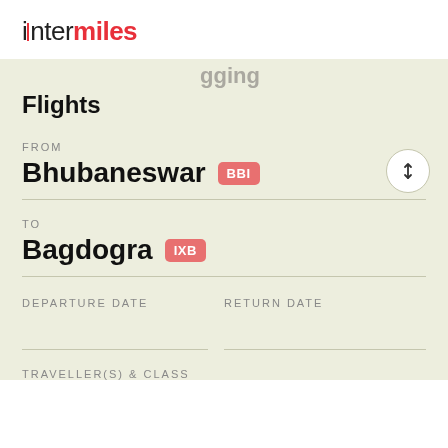[Figure (logo): InterMiles logo with red bar accent and red 'miles' text]
Flights
FROM
Bhubaneswar BBI
TO
Bagdogra IXB
DEPARTURE DATE
RETURN DATE
TRAVELLER(S) & CLASS